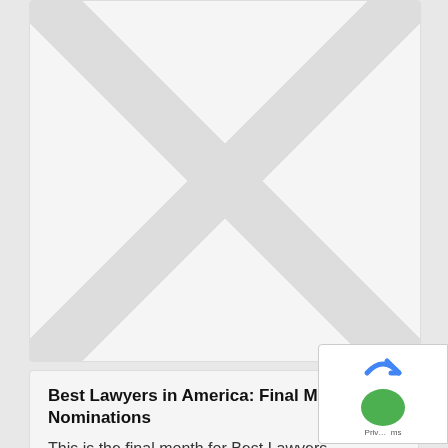[Figure (illustration): Card with placeholder image area showing diagonal cross pattern on light grey background — top card, image only portion visible]
Best Lawyers in America: Final Month for Nominations
This is the final month for Best Lawyers nominations.  You can nominate an attorney by filling out the nomination form...
[Figure (illustration): Card with placeholder image area showing diagonal cross pattern on light grey background — bottom card, partially visible]